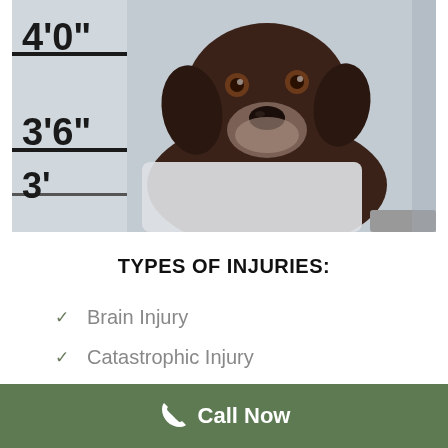[Figure (photo): A chocolate Labrador dog posed in front of a police lineup height ruler background, like a mugshot photo. The ruler shows markings at 4'0", 3'6", and 3'. The dog holds a white sign at the bottom.]
TYPES OF INJURIES:
Brain Injury
Catastrophic Injury
Dog Bite Claim (partially visible)
Call Now